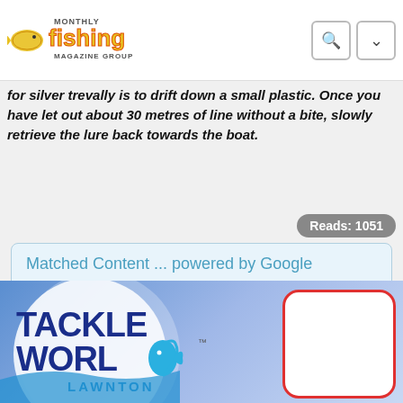Fishing Monthly Magazine Group
for silver trevally is to drift down a small plastic. Once you have let out about 30 metres of line without a bite, slowly retrieve the lure back towards the boat.
Reads: 1051
Matched Content ... powered by Google
[Figure (logo): Tackle World Lawnton advertisement banner with logo and white rounded rectangle with red border]